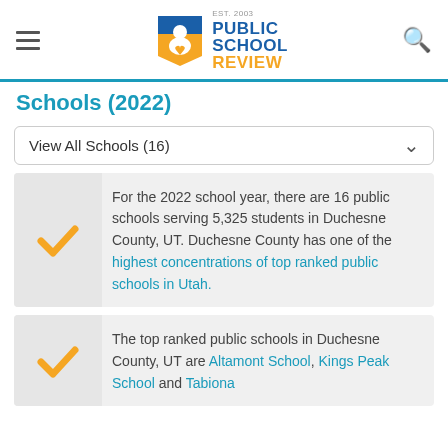[Figure (logo): Public School Review logo with hamburger menu and search icon in header]
Schools (2022)
View All Schools (16)
For the 2022 school year, there are 16 public schools serving 5,325 students in Duchesne County, UT. Duchesne County has one of the highest concentrations of top ranked public schools in Utah.
The top ranked public schools in Duchesne County, UT are Altamont School, Kings Peak School and Tabiona